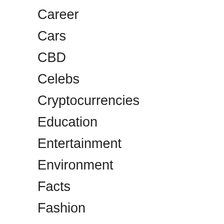Career
Cars
CBD
Celebs
Cryptocurrencies
Education
Entertainment
Environment
Facts
Fashion
Featured
Finance
Fitness
Food & Drinks
Fun